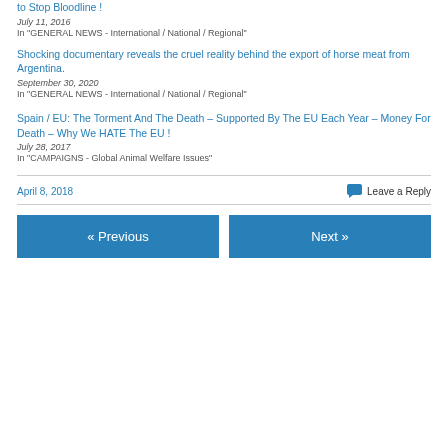to Stop Bloodline !
July 11, 2016
In "GENERAL NEWS - International / National / Regional"
Shocking documentary reveals the cruel reality behind the export of horse meat from Argentina.
September 30, 2020
In "GENERAL NEWS - International / National / Regional"
Spain / EU: The Torment And The Death – Supported By The EU Each Year – Money For Death – Why We HATE The EU !
July 28, 2017
In "CAMPAIGNS - Global Animal Welfare Issues"
April 8, 2018
Leave a Reply
« Previous
Next »